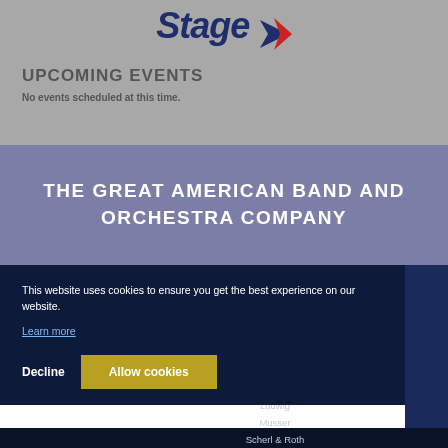[Figure (logo): StageQ logo with stylized italic bold text and arrow graphic]
UPCOMING EVENTS
No events scheduled at this time.
THE GREAT AMERICAN BAND AND ORCHESTRA COMPANY
This website uses cookies to ensure you get the best experience on our website.
Learn more
Decline   Allow cookies
BRANDS
Armstrong
C.G. Conn
Henri Selmer Paris
Holton
King
Leblanc
Ludwig
Musser
Scherl & Roth